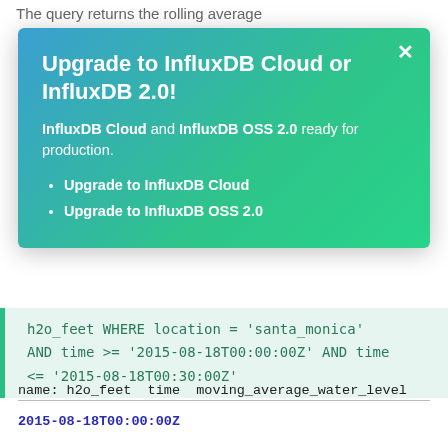The query returns the rolling average
Upgrade to InfluxDB Cloud or InfluxDB 2.0!
InfluxDB Cloud and InfluxDB OSS 2.0 ready for production.
Upgrade to InfluxDB Cloud
Upgrade to InfluxDB OSS 2.0
h2o_feet WHERE location = 'santa_monica' AND time >= '2015-08-18T00:00:00Z' AND time <= '2015-08-18T00:30:00Z'
name: h2o_feet time moving_average_water_level
2015-08-18T00:00:00Z ...